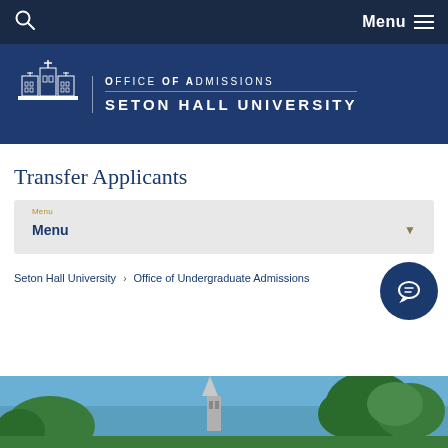Menu
[Figure (logo): Office of Admissions, Seton Hall University logo with building silhouette on dark blue background]
Transfer Applicants
Menu
Seton Hall University › Office of Undergraduate Admissions
[Figure (photo): Exterior photo of Seton Hall University campus with church steeple and trees against blue sky]